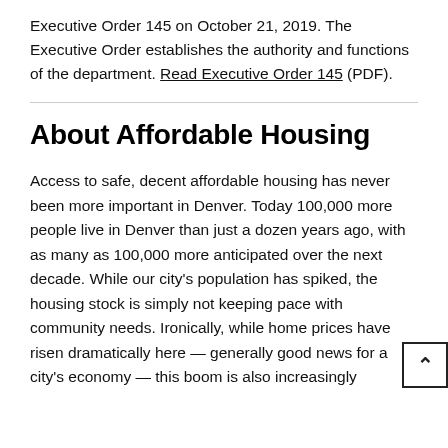Executive Order 145 on October 21, 2019. The Executive Order establishes the authority and functions of the department. Read Executive Order 145 (PDF).
About Affordable Housing
Access to safe, decent affordable housing has never been more important in Denver. Today 100,000 more people live in Denver than just a dozen years ago, with as many as 100,000 more anticipated over the next decade. While our city's population has spiked, the housing stock is simply not keeping pace with community needs. Ironically, while home prices have risen dramatically here — generally good news for a city's economy — this boom is also increasingly